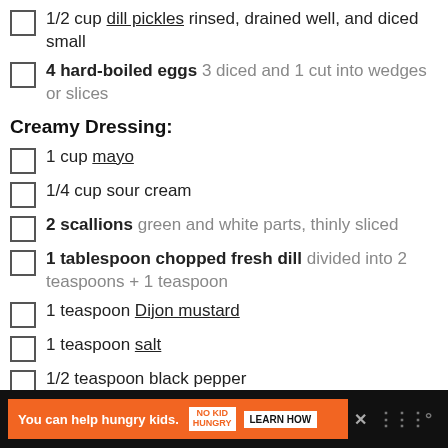1/2 cup dill pickles rinsed, drained well, and diced small
4 hard-boiled eggs 3 diced and 1 cut into wedges or slices
Creamy Dressing:
1 cup mayo
1/4 cup sour cream
2 scallions green and white parts, thinly sliced
1 tablespoon chopped fresh dill divided into 2 teaspoons + 1 teaspoon
1 teaspoon Dijon mustard
1 teaspoon salt
1/2 teaspoon black pepper
You can help hungry kids. NO KID HUNGRY LEARN HOW